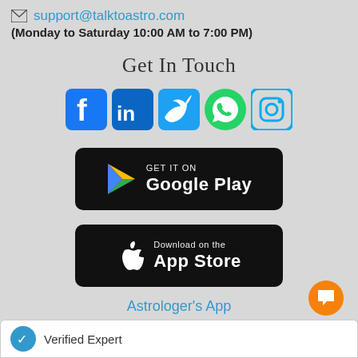support@talktoastro.com
(Monday to Saturday 10:00 AM to 7:00 PM)
Get In Touch
[Figure (logo): Social media icons: Facebook, LinkedIn, Twitter, WhatsApp, Instagram]
[Figure (logo): GET IT ON Google Play button]
[Figure (logo): Download on the App Store button]
Astrologer's App
JOIN AS ASTROLOGER